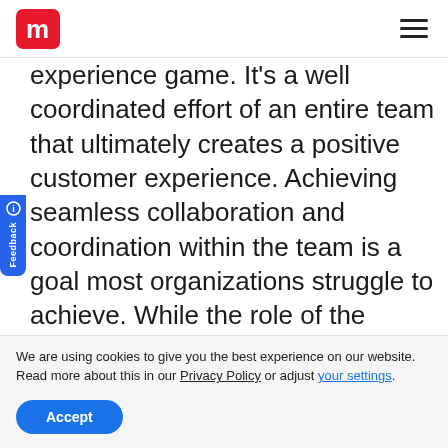m [logo] [hamburger menu]
experience game. It’s a well coordinated effort of an entire team that ultimately creates a positive customer experience. Achieving seamless collaboration and coordination within the team is a goal most organizations struggle to achieve. While the role of the project managers is certainly crucial, even [...]
We are using cookies to give you the best experience on our website.
Read more about this in our Privacy Policy or adjust your settings.
Accept